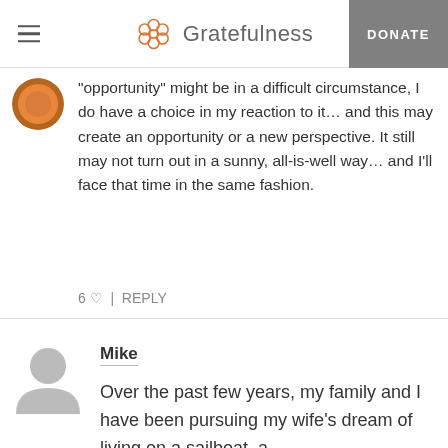Gratefulness | DONATE
“opportunity” might be in a difficult circumstance, I do have a choice in my reaction to it… and this may create an opportunity or a new perspective. It still may not turn out in a sunny, all-is-well way… and I’ll face that time in the same fashion.
6 ♥ | REPLY
Mike
Over the past few years, my family and I have been pursuing my wife's dream of living on a sailboat, a